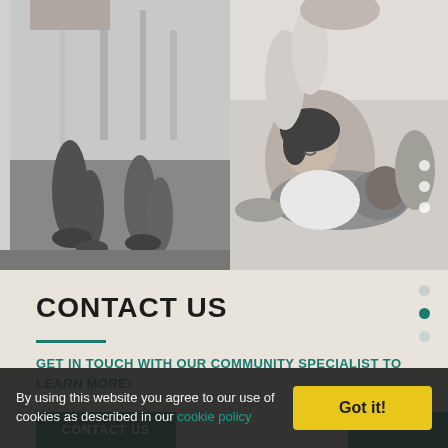[Figure (photo): Black and white photo of people running outdoors, legs and feet visible on a path with trees in background]
[Figure (photo): Black and white photo of a smiling woman and man lying on floor together, playful family moment]
CONTACT US
GET IN TOUCH WITH OUR COMMUNITY SPECIALIST TO LEARN MORE!
CONTACT US
By using this website you agree to our use of cookies as described in our cookie policy
Got it!